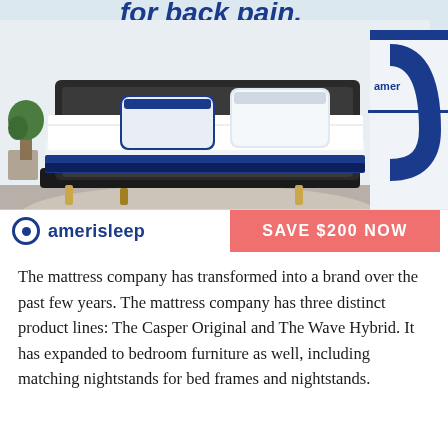[Figure (photo): Advertisement photo of an Amerisleep mattress on a bed frame in a bedroom setting. The mattress has a white top and dark navy blue sides. Two pillows are on the bed. A plant is visible in the background on the left. A partial view of a white box with 'amer' text is on the right. The top of the image shows cropped text 'for back pain.' in large letters.]
The mattress company has transformed into a brand over the past few years. The mattress company has three distinct product lines: The Casper Original and The Wave Hybrid. It has expanded to bedroom furniture as well, including matching nightstands for bed frames and nightstands.